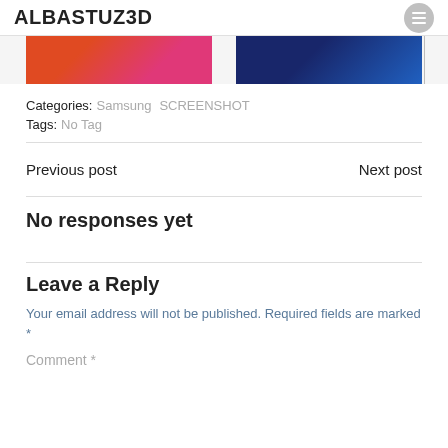ALBASTUZ3D
[Figure (screenshot): Partial product images — left shows orange/pink gradient phone, right shows dark blue phone, separated by a vertical divider line]
Categories: Samsung SCREENSHOT
Tags: No Tag
Previous post    Next post
No responses yet
Leave a Reply
Your email address will not be published. Required fields are marked *
Comment *